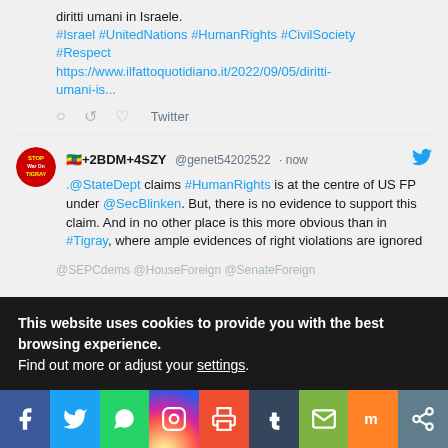diritti umani in Israele.
#Israel #UnitedNations #HumanRights #CivilSociety #Respect
https://www.ilfattoquotidiano.it/2022/09/05/diritti-umani-is...
Twitter
🇪🇹+2BDM+4SZY @genet54202522 · now
.@StateDept claims #HumanRights is at the centre of US FP under @SecBlinken. But, there is no evidence to support this claim. And in no other place is this more obvious than in #Tigray, where ample evidences of right violations are ignored
@SEPCdems @HouseForeign @SenateForeign
This website uses cookies to provide you with the best browsing experience.
Find out more or adjust your settings.